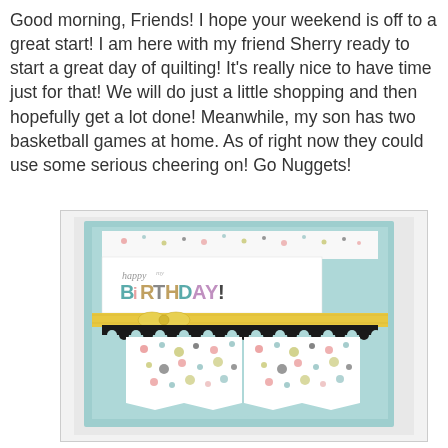Good morning, Friends! I hope your weekend is off to a great start! I am here with my friend Sherry ready to start a great day of quilting! It's really nice to have time just for that! We will do just a little shopping and then hopefully get a lot done! Meanwhile, my son has two basketball games at home. As of right now they could use some serious cheering on! Go Nuggets!
[Figure (photo): A handmade birthday card with a light teal/mint background. The card features a white panel with 'happy birthday!' stamped text where 'happy' is in small italic script and 'BiRTHDAY!' is in large mixed colorful block letters. A yellow/gold ribbon with a bow crosses horizontally. A black scalloped border strip is below the ribbon. The bottom half has a polka-dot patterned pennant banner shape in white with colorful dots, and a teal triangle cut into the bottom center creating a double-pennant effect.]